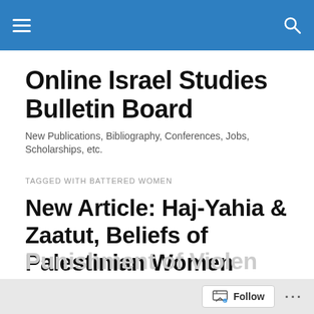Online Israel Studies Bulletin Board
Online Israel Studies Bulletin Board
New Publications, Bibliography, Conferences, Jobs, Scholarships, etc.
TAGGED WITH BATTERED WOMEN
New Article: Haj-Yahia & Zaatut, Beliefs of Palestinian Women About the Responsibility and Punishment of Violen…